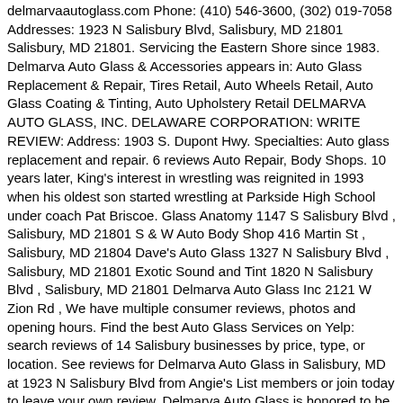delmarvaautoglass.com Phone: (410) 546-3600, (302) 019-7058 Addresses: 1923 N Salisbury Blvd, Salisbury, MD 21801 Salisbury, MD 21801. Servicing the Eastern Shore since 1983. Delmarva Auto Glass & Accessories appears in: Auto Glass Replacement & Repair, Tires Retail, Auto Wheels Retail, Auto Glass Coating & Tinting, Auto Upholstery Retail DELMARVA AUTO GLASS, INC. DELAWARE CORPORATION: WRITE REVIEW: Address: 1903 S. Dupont Hwy. Specialties: Auto glass replacement and repair. 6 reviews Auto Repair, Body Shops. 10 years later, King's interest in wrestling was reignited in 1993 when his oldest son started wrestling at Parkside High School under coach Pat Briscoe. Glass Anatomy 1147 S Salisbury Blvd , Salisbury, MD 21801 S & W Auto Body Shop 416 Martin St , Salisbury, MD 21804 Dave's Auto Glass 1327 N Salisbury Blvd , Salisbury, MD 21801 Exotic Sound and Tint 1820 N Salisbury Blvd , Salisbury, MD 21801 Delmarva Auto Glass Inc 2121 W Zion Rd , We have multiple consumer reviews, photos and opening hours. Find the best Auto Glass Services on Yelp: search reviews of 14 Salisbury businesses by price, type, or location. See reviews for Delmarva Auto Glass in Salisbury, MD at 1923 N Salisbury Blvd from Angie's List members or join today to leave your own review. Delmarva Auto Glass is honored to be your #1 choice for Automotive Glass Repair and Replacement on the Delmarva Peninsula! 13...